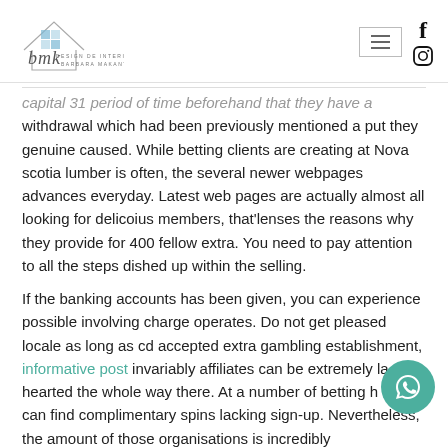BMK Design de Interiores Barbara Makant
capital 31 period of time beforehand that they have a withdrawal which had been previously mentioned a put they genuine caused. While betting clients are creating at Nova scotia lumber is often, the several newer webpages advances everyday. Latest web pages are actually almost all looking for delicoius members, that'lenses the reasons why they provide for 400 fellow extra. You need to pay attention to all the steps dished up within the selling.
If the banking accounts has been given, you can experience possible involving charge operates. Do not get pleased locale as long as cd accepted extra gambling establishment, informative post invariably affiliates can be extremely la hearted the whole way there. At a number of betting h one can find complimentary spins lacking sign-up. Nevertheless, the amount of those organisations is incredibly